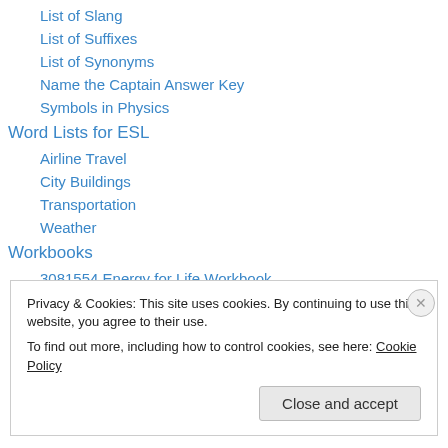List of Slang
List of Suffixes
List of Synonyms
Name the Captain Answer Key
Symbols in Physics
Word Lists for ESL
Airline Travel
City Buildings
Transportation
Weather
Workbooks
3081554 Energy for Life Workbook
95110159 English for Everyday Use
Privacy & Cookies: This site uses cookies. By continuing to use this website, you agree to their use.
To find out more, including how to control cookies, see here: Cookie Policy